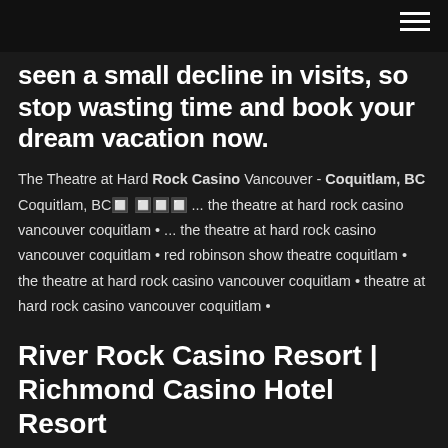seen a small decline in visits, so stop wasting time and book your dream vacation now.
The Theatre at Hard Rock Casino Vancouver - Coquitlam, BC Coquitlam, BC🔲 🔲🔲🔲 ... the theatre at hard rock casino vancouver coquitlam • ... the theatre at hard rock casino vancouver coquitlam • red robinson show theatre coquitlam • the theatre at hard rock casino vancouver coquitlam • theatre at hard rock casino vancouver coquitlam •
River Rock Casino Resort | Richmond Casino Hotel Resort
28 reviews of Hard Rock Casino Vancouver "Had a great time here watching Chris D'elia, the parking is great and the